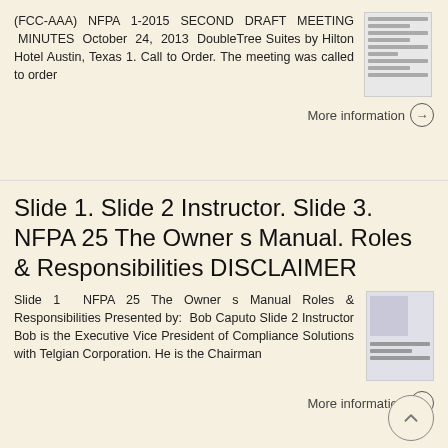(FCC-AAA) NFPA 1-2015 SECOND DRAFT MEETING MINUTES October 24, 2013 DoubleTree Suites by Hilton Hotel Austin, Texas 1. Call to Order. The meeting was called to order
More information →
Slide 1. Slide 2 Instructor. Slide 3. NFPA 25 The Owner s Manual. Roles & Responsibilities DISCLAIMER
Slide 1 NFPA 25 The Owner s Manual Roles & Responsibilities Presented by: Bob Caputo Slide 2 Instructor Bob is the Executive Vice President of Compliance Solutions with Telgian Corporation. He is the Chairman
More information →